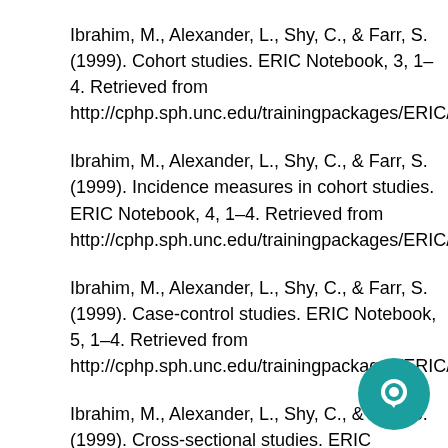Ibrahim, M., Alexander, L., Shy, C., & Farr, S. (1999). Cohort studies. ERIC Notebook, 3, 1–4. Retrieved from http://cphp.sph.unc.edu/trainingpackages/ERIC/eric_n
Ibrahim, M., Alexander, L., Shy, C., & Farr, S. (1999). Incidence measures in cohort studies. ERIC Notebook, 4, 1–4. Retrieved from http://cphp.sph.unc.edu/trainingpackages/ERIC/eric_n
Ibrahim, M., Alexander, L., Shy, C., & Farr, S. (1999). Case-control studies. ERIC Notebook, 5, 1–4. Retrieved from http://cphp.sph.unc.edu/trainingpackages/ERIC/eric_n
Ibrahim, M., Alexander, L., Shy, C., & Farr, S. (1999). Cross-sectional studies. ERIC Notebook, 7, 1–4. Retrieved from